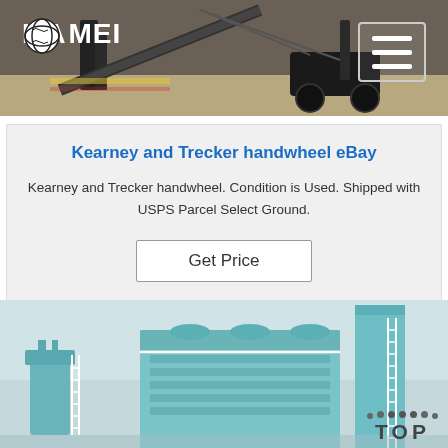[Figure (photo): Header banner showing industrial machinery/equipment on a job site with dark background. Haomei logo visible top-left with hamburger menu top-right.]
Kearney and Trecker handwheel eBay
Kearney and Trecker handwheel. Condition is Used. Shipped with USPS Parcel Select Ground.
[Figure (photo): Bottom banner showing large industrial facility with teal/blue-green cooling towers and mechanical structures. 'TOP' navigation button overlaid at bottom-right.]